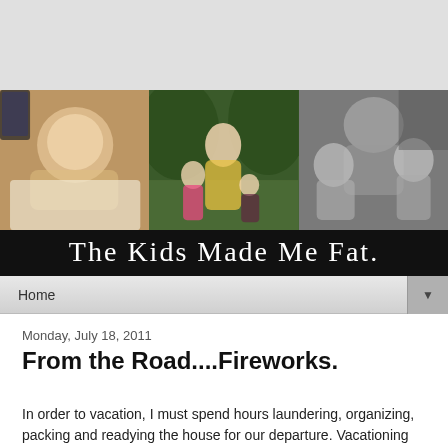[Figure (photo): Blog header with three photo panels: (1) child lying down viewed from above, (2) pregnant woman with two girls outdoors, (3) black and white photo of woman with children]
The Kids Made Me Fat.
Home
Monday, July 18, 2011
From the Road....Fireworks.
In order to vacation, I must spend hours laundering, organizing, packing and readying the house for our departure. Vacationing requires Justin to pack one bag and get in the car.